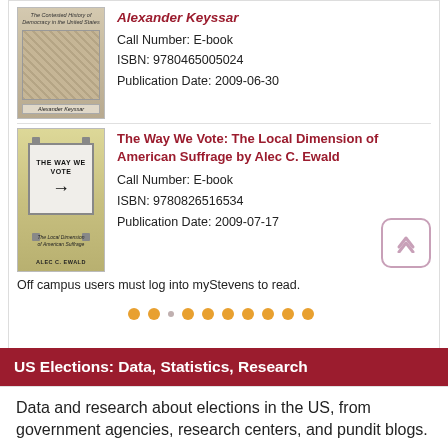Alexander Keyssar — Call Number: E-book | ISBN: 9780465005024 | Publication Date: 2009-06-30
[Figure (illustration): Book cover for The Way We Vote: The Local Dimension of American Suffrage by Alec C. Ewald — yellow/cream cover with a road sign reading THE WAY WE VOTE with an arrow]
The Way We Vote: The Local Dimension of American Suffrage by Alec C. Ewald
Call Number: E-book
ISBN: 9780826516534
Publication Date: 2009-07-17
Off campus users must log into myStevens to read.
US Elections: Data, Statistics, Research
Data and research about elections in the US, from government agencies, research centers, and pundit blogs.